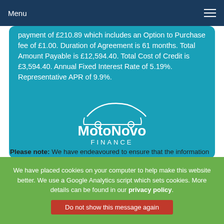Menu
payment of £210.89 which includes an Option to Purchase fee of £1.00. Duration of Agreement is 61 months. Total Amount Payable is £12,594.40. Total Cost of Credit is £3,594.40. Annual Fixed Interest Rate of 5.19%. Representative APR of 9.9%.
[Figure (logo): MotoNovo Finance logo — white car outline above white text reading MotoNovo FINANCE on a teal background]
Please note: We have endeavoured to ensure that the information presented above is as accurate as possible but errors may occur. The information detailed above relates to the usual specification of the most recent model of this particular vehicle. It may not be the exact data for this vehicle and specifications for older models could possibly differ. The information provided is intended to help confirm the specification, please
We have placed cookies on your computer to help make this website better. We use a Google Analytics script which sets cookies. More details can be found in our privacy policy.
Do not show this message again